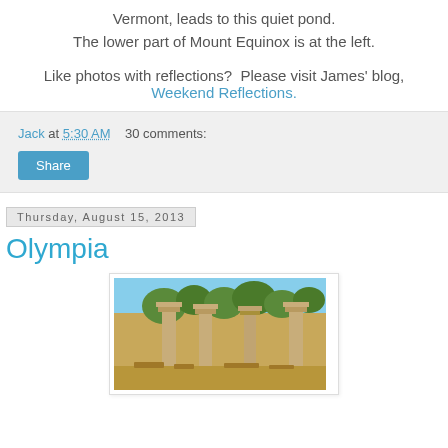Vermont, leads to this quiet pond.
The lower part of Mount Equinox is at the left.
Like photos with reflections?  Please visit James' blog, Weekend Reflections.
Jack at 5:30 AM    30 comments:
Share
Thursday, August 15, 2013
Olympia
[Figure (photo): Ancient Greek ruins at Olympia showing stone columns under a blue sky with trees in the background]